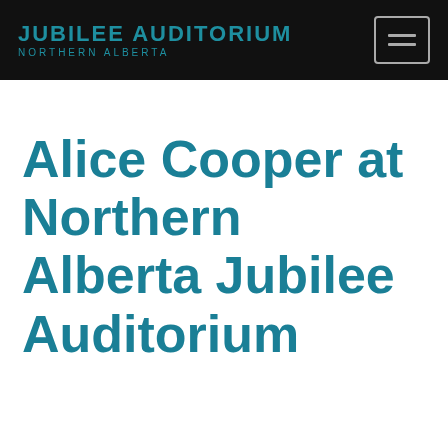JUBILEE AUDITORIUM NORTHERN ALBERTA
Alice Cooper at Northern Alberta Jubilee Auditorium